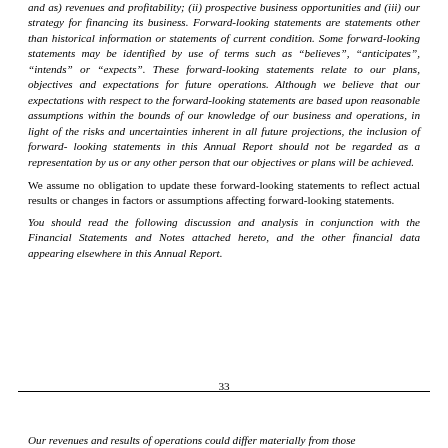and as) revenues and profitability; (ii) prospective business opportunities and (iii) our strategy for financing its business. Forward-looking statements are statements other than historical information or statements of current condition. Some forward-looking statements may be identified by use of terms such as “believes”, “anticipates”, “intends” or “expects”. These forward-looking statements relate to our plans, objectives and expectations for future operations. Although we believe that our expectations with respect to the forward-looking statements are based upon reasonable assumptions within the bounds of our knowledge of our business and operations, in light of the risks and uncertainties inherent in all future projections, the inclusion of forward-looking statements in this Annual Report should not be regarded as a representation by us or any other person that our objectives or plans will be achieved.
We assume no obligation to update these forward-looking statements to reflect actual results or changes in factors or assumptions affecting forward-looking statements.
You should read the following discussion and analysis in conjunction with the Financial Statements and Notes attached hereto, and the other financial data appearing elsewhere in this Annual Report.
33
Our revenues and results of operations could differ materially from those